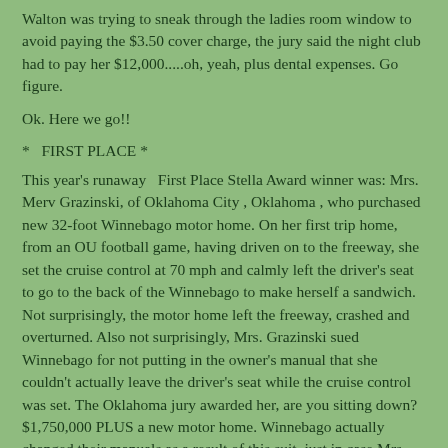Walton was trying to sneak through the ladies room window to avoid paying the $3.50 cover charge, the jury said the night club had to pay her $12,000.....oh, yeah, plus dental expenses. Go figure.
Ok. Here we go!!
*   FIRST PLACE *
This year's runaway   First Place Stella Award winner was: Mrs. Merv Grazinski, of Oklahoma City , Oklahoma , who purchased new 32-foot Winnebago motor home. On her first trip home, from an OU football game, having driven on to the freeway, she set the cruise control at 70 mph and calmly left the driver's seat to go to the back of the Winnebago to make herself a sandwich. Not surprisingly, the motor home left the freeway, crashed and overturned. Also not surprisingly, Mrs. Grazinski sued Winnebago for not putting in the owner's manual that she couldn't actually leave the driver's seat while the cruise control was set. The Oklahoma jury awarded her, are you sitting down? $1,750,000 PLUS a new motor home. Winnebago actually changed their manuals as a result of this suit, just in case Mrs. Grazinski...